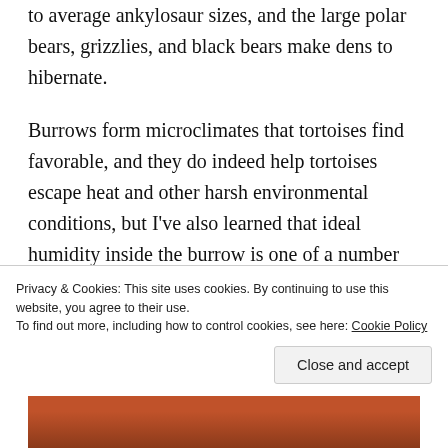to average ankylosaur sizes, and the large polar bears, grizzlies, and black bears make dens to hibernate.
Burrows form microclimates that tortoises find favorable, and they do indeed help tortoises escape heat and other harsh environmental conditions, but I've also learned that ideal humidity inside the burrow is one of a number of factors that help promote carapace health. The same
Privacy & Cookies: This site uses cookies. By continuing to use this website, you agree to their use.
To find out more, including how to control cookies, see here: Cookie Policy
Close and accept
[Figure (photo): Partial view of a photo at the bottom of the page, showing warm reddish-brown tones, appearing to be an animal or nature image.]